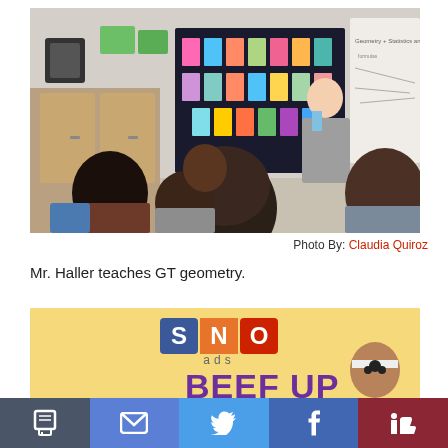[Figure (photo): A teacher (Mr. Haller) stands at the front of a classroom near a colorful bulletin board and a whiteboard with math notes. Several students sit at desks facing him in a classroom setting.]
Photo By: Claudia Quiroz
Mr. Haller teaches GT geometry.
[Figure (screenshot): SNO ads banner advertisement with yellow background showing 'SNO ads' logo with colored letter blocks and 'BEEF UP' text in purple, with a person silhouette on the right.]
[Figure (infographic): Social sharing toolbar with icons for print, email, Twitter, Facebook, and like/thumbs-up.]